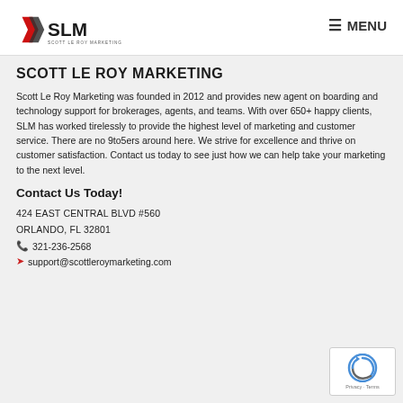SLM SCOTT LE ROY MARKETING — MENU
SCOTT LE ROY MARKETING
Scott Le Roy Marketing was founded in 2012 and provides new agent on boarding and technology support for brokerages, agents, and teams. With over 650+ happy clients, SLM has worked tirelessly to provide the highest level of marketing and customer service. There are no 9to5ers around here. We strive for excellence and thrive on customer satisfaction. Contact us today to see just how we can help take your marketing to the next level.
Contact Us Today!
424 EAST CENTRAL BLVD #560
ORLANDO, FL 32801
321-236-2568
support@scottleroymarketing.com